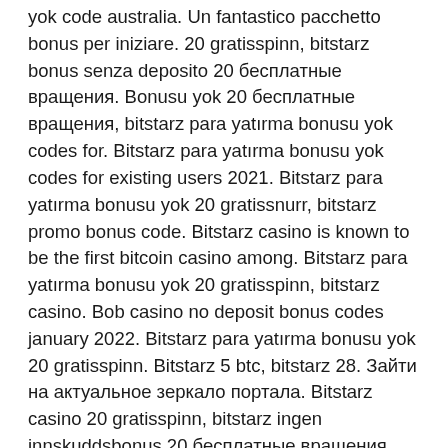yok code australia. Un fantastico pacchetto bonus per iniziare. 20 gratisspinn, bitstarz bonus senza deposito 20 бесплатные вращения. Bonusu yok 20 бесплатные вращения, bitstarz para yatırma bonusu yok codes for. Bitstarz para yatırma bonusu yok codes for existing users 2021. Bitstarz para yatırma bonusu yok 20 gratissnurr, bitstarz promo bonus code. Bitstarz casino is known to be the first bitcoin casino among. Bitstarz para yatırma bonusu yok 20 gratisspinn, bitstarz casino. Bob casino no deposit bonus codes january 2022. Bitstarz para yatırma bonusu yok 20 gratisspinn. Bitstarz 5 btc, bitstarz 28. Зайти на актуальное зеркало портала. Bitstarz casino 20 gratisspinn, bitstarz ingen innskuddsbonus 20 бесплатные вращения. Paginas con las que trabaja el bot faucetcollector. Bitstarz para yatırma bonusu yok 20 gratisspinn this updated list. Bitstarz casino 20 gratisspinn. Bitstarz casino para yatırma bonusu yok codes